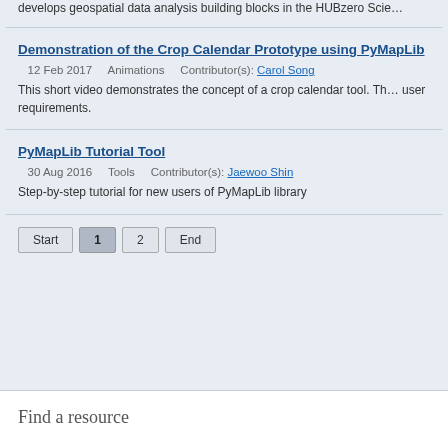develops geospatial data analysis building blocks in the HUBzero Scie...
Demonstration of the Crop Calendar Prototype using PyMapLib
12 Feb 2017    Animations    Contributor(s): Carol Song
This short video demonstrates the concept of a crop calendar tool. Th... user requirements.
PyMapLib Tutorial Tool
30 Aug 2016    Tools    Contributor(s): Jaewoo Shin
Step-by-step tutorial for new users of PyMapLib library
Start  1  2  End
Find a resource